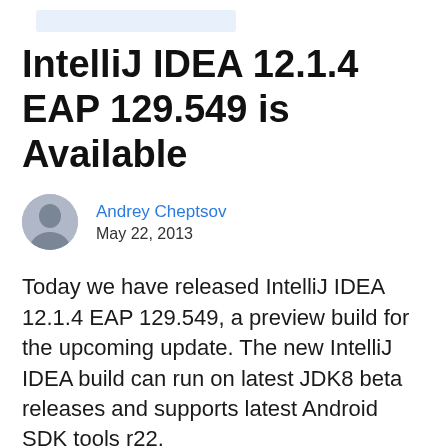IntelliJ IDEA 12.1.4 EAP 129.549 is Available
Andrey Cheptsov
May 22, 2013
Today we have released IntelliJ IDEA 12.1.4 EAP 129.549, a preview build for the upcoming update. The new IntelliJ IDEA build can run on latest JDK8 beta releases and supports latest Android SDK tools r22.
Find full list of changes in Release Notes